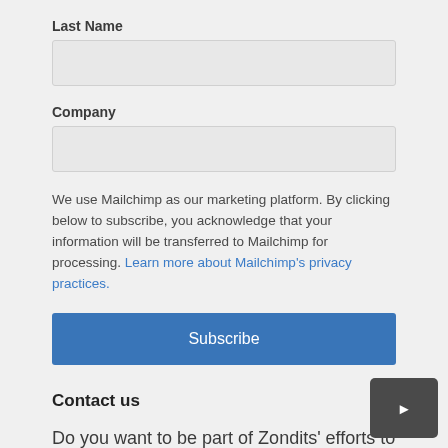Last Name
We use Mailchimp as our marketing platform. By clicking below to subscribe, you acknowledge that your information will be transferred to Mailchimp for processing. Learn more about Mailchimp's privacy practices.
Company
Subscribe
Contact us
Do you want to be part of Zondits' efforts to keep people informed about energy efficiency?